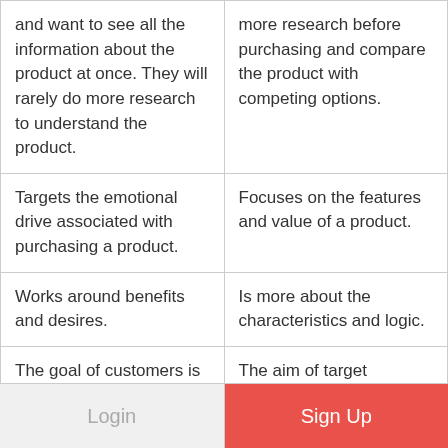| and want to see all the information about the product at once. They will rarely do more research to understand the product. | more research before purchasing and compare the product with competing options. |
| Targets the emotional drive associated with purchasing a product. | Focuses on the features and value of a product. |
| Works around benefits and desires. | Is more about the characteristics and logic. |
| The goal of customers is a personal improvement. | The aim of target customers is to power their business. |
| Makes small-scale sales | Sales are large-scale. The |